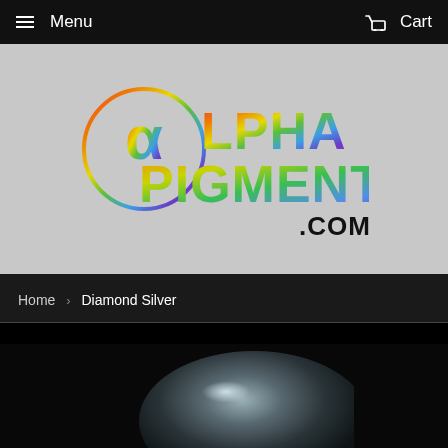Menu   Cart
[Figure (logo): Alpha Pigments .com logo with rainbow gradient text and circular figure graphic on grey background]
Home › Diamond Silver
[Figure (photo): Diamond Silver pigment product photo on black background, showing a dark metallic silver rounded shape with a slight shine]